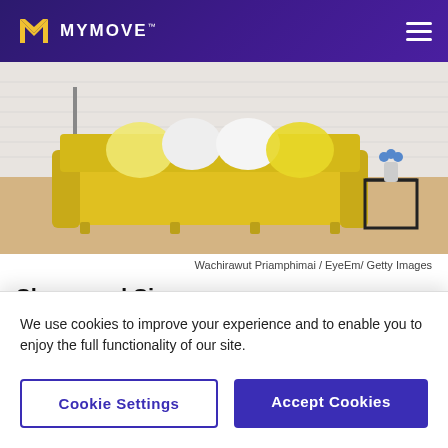MYMOVE
[Figure (photo): Yellow sofa with white and yellow throw pillows against a white brick wall, with a teal floor lamp on the left and a black geometric side table with a blue flower vase on the right, on a light wood floor.]
Wachirawut Priamphimai / EyeEm/ Getty Images
Shape and Size
Throw pillows come in a variety of shapes and
We use cookies to improve your experience and to enable you to enjoy the full functionality of our site.